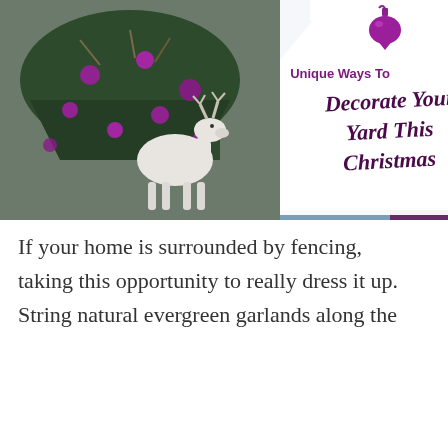[Figure (illustration): Infographic image showing a white reindeer figurine in front of a Christmas tree decorated with purple ornaments, on the left. On the right side is a white house-shaped overlay with a purple ornament icon at the top. Text reads 'Unique Ways To Decorate Your Yard This Christmas' in purple/dark purple script and sans-serif fonts.]
If your home is surrounded by fencing, taking this opportunity to really dress it up. String natural evergreen garlands along the